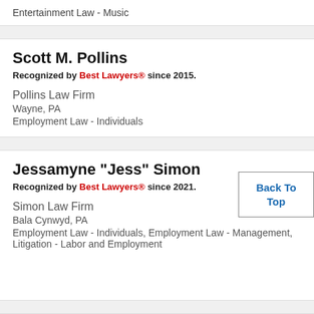Entertainment Law - Music
Scott M. Pollins
Recognized by Best Lawyers® since 2015.
Pollins Law Firm
Wayne, PA
Employment Law - Individuals
Jessamyne "Jess" Simon
Recognized by Best Lawyers® since 2021.
Simon Law Firm
Bala Cynwyd, PA
Employment Law - Individuals, Employment Law - Management, Litigation - Labor and Employment